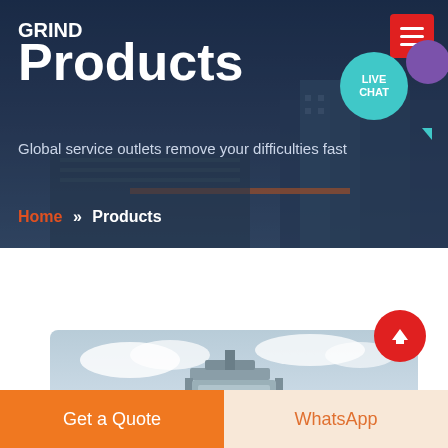GRIND
Products
Global service outlets remove your difficulties fast
Home >> Products
[Figure (screenshot): Product photo showing industrial lighting fixture or equipment mounted against a cloudy sky background]
Get a Quote
WhatsApp